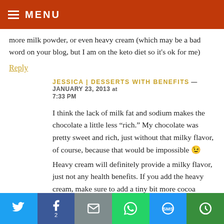MENU
more milk powder, or even heavy cream (which may be a bad word on your blog, but I am on the keto diet so it's ok for me)
Reply
JESSICA | DESSERTS WITH BENEFITS — JANUARY 23, 2013 at 7:33 PM
I think the lack of milk fat and sodium makes the chocolate a little less "rich." My chocolate was pretty sweet and rich, just without that milky flavor, of course, because that would be impossible 😉
Heavy cream will definitely provide a milky flavor, just not any health benefits. If you add the heavy cream, make sure to add a tiny bit more cocoa butter and erythritol so it doesn't affect